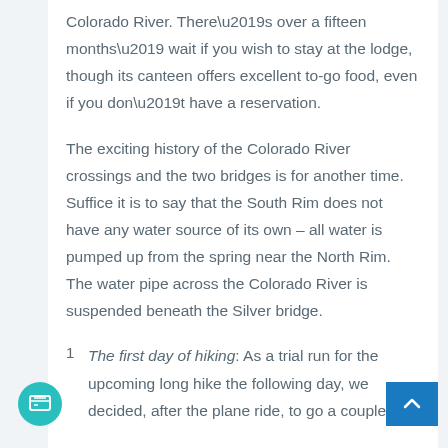Colorado River. There’s over a fifteen months’ wait if you wish to stay at the lodge, though its canteen offers excellent to-go food, even if you don’t have a reservation.
The exciting history of the Colorado River crossings and the two bridges is for another time. Suffice it is to say that the South Rim does not have any water source of its own – all water is pumped up from the spring near the North Rim. The water pipe across the Colorado River is suspended beneath the Silver bridge.
1 The first day of hiking: As a trial run for the upcoming long hike the following day, we decided, after the plane ride, to go a couple of